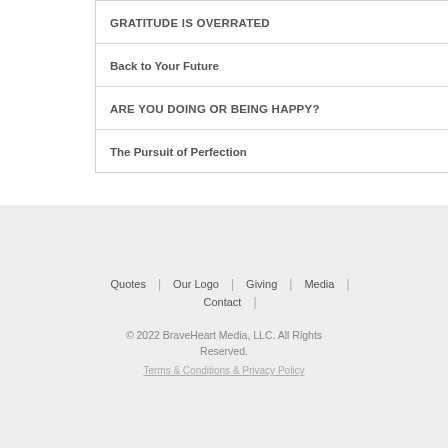GRATITUDE IS OVERRATED
Back to Your Future
ARE YOU DOING OR BEING HAPPY?
The Pursuit of Perfection
Quotes | Our Logo | Giving | Media | Contact
© 2022 BraveHeart Media, LLC. All Rights Reserved.
Terms & Conditions & Privacy Policy